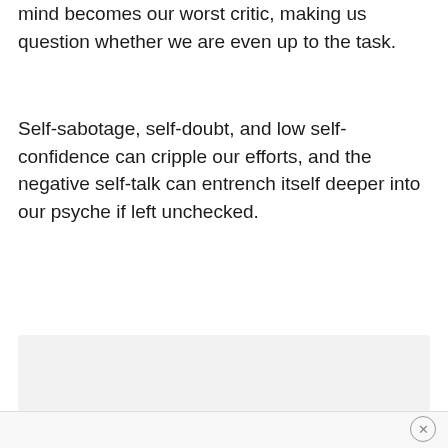mind becomes our worst critic, making us question whether we are even up to the task.
Self-sabotage, self-doubt, and low self-confidence can cripple our efforts, and the negative self-talk can entrench itself deeper into our psyche if left unchecked.
[Figure (other): Gray advertisement or content placeholder box]
×